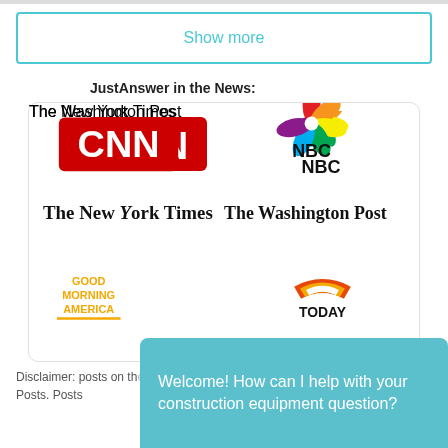Show more
JustAnswer in the News:
[Figure (logo): News media logos: CNN, NBC, The New York Times, The Washington Post, Good Morning America, TODAY]
Disclaimer: posts on th... JustAnswer; JustAnswer is not responsible for Posts. Posts
Welcome! How can I help with your construction equipment question?